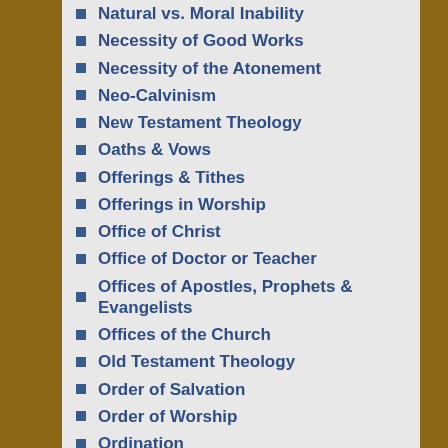Natural vs. Moral Inability
Necessity of Good Works
Necessity of the Atonement
Neo-Calvinism
New Testament Theology
Oaths & Vows
Offerings & Tithes
Offerings in Worship
Office of Christ
Office of Doctor or Teacher
Offices of Apostles, Prophets & Evangelists
Offices of the Church
Old Testament Theology
Order of Salvation
Order of Worship
Ordination
Origin of the Soul
Original Sin
Original Westminster Standards
Paedocommunion
Parker Society
Passive Obedience